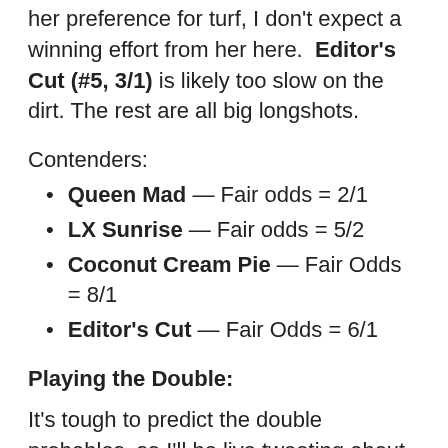her preference for turf, I don't expect a winning effort from her here. Editor's Cut (#5, 3/1) is likely too slow on the dirt. The rest are all big longshots.
Contenders:
Queen Mad — Fair odds = 2/1
LX Sunrise — Fair odds = 5/2
Coconut Cream Pie — Fair Odds = 8/1
Editor's Cut — Fair Odds = 6/1
Playing the Double:
It's tough to predict the double probables, so I'll be live tweeting about it during the 7th race